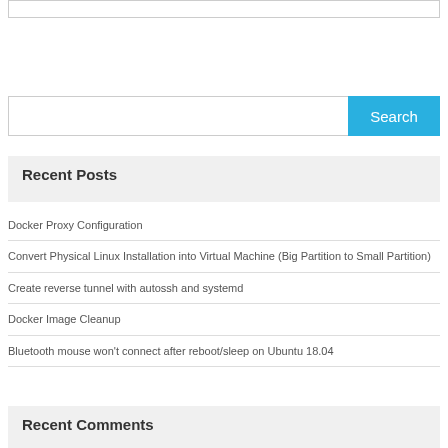[Figure (other): Top white bar / content placeholder]
[Figure (other): Search input field with Search button]
Recent Posts
Docker Proxy Configuration
Convert Physical Linux Installation into Virtual Machine (Big Partition to Small Partition)
Create reverse tunnel with autossh and systemd
Docker Image Cleanup
Bluetooth mouse won't connect after reboot/sleep on Ubuntu 18.04
Recent Comments